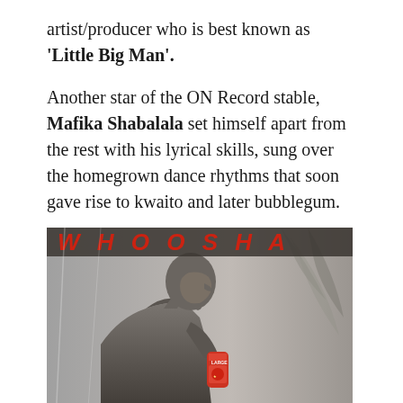artist/producer who is best known as 'Little Big Man'.
Another star of the ON Record stable, Mafika Shabalala set himself apart from the rest with his lyrical skills, sung over the homegrown dance rhythms that soon gave rise to kwaito and later bubblegum.
[Figure (photo): Album cover of 'WHOOSHA' showing a shirtless man in black and white profile view holding a can, with the title 'WHOOSHA' displayed in red letters at the top.]